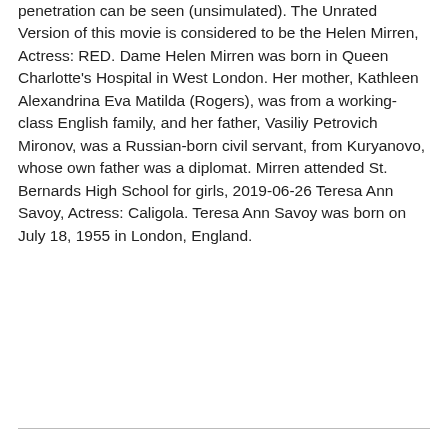penetration can be seen (unsimulated). The Unrated Version of this movie is considered to be the Helen Mirren, Actress: RED. Dame Helen Mirren was born in Queen Charlotte's Hospital in West London. Her mother, Kathleen Alexandrina Eva Matilda (Rogers), was from a working-class English family, and her father, Vasiliy Petrovich Mironov, was a Russian-born civil servant, from Kuryanovo, whose own father was a diplomat. Mirren attended St. Bernards High School for girls, 2019-06-26 Teresa Ann Savoy, Actress: Caligola. Teresa Ann Savoy was born on July 18, 1955 in London, England.